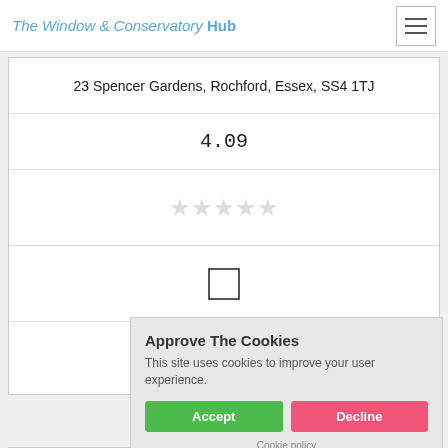The Window & Conservatory Hub
23 Spencer Gardens, Rochford, Essex, SS4 1TJ
4.09
[Figure (other): Five empty star rating icons]
[Figure (other): Empty checkbox]
Get a Quote
Approve The Cookies
This site uses cookies to improve your user experience.
Accept
Decline
Cookie policy
A Grade Glazing Limited
56a Elder Avenue, Wickford, Essex, SS12 0LU